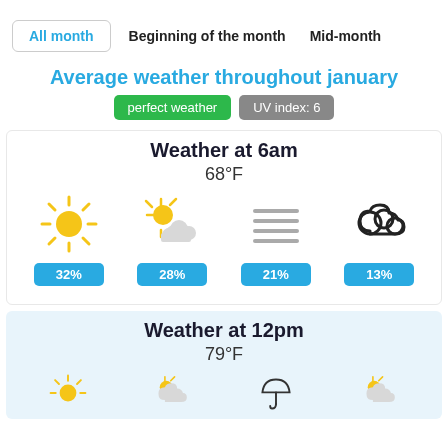All month | Beginning of the month | Mid-month
Average weather throughout january
perfect weather  UV index: 6
Weather at 6am
68°F
[Figure (infographic): Four weather icons in a row: sun (32%), partly cloudy sun (28%), haze/fog lines (21%), cloud (13%)]
Weather at 12pm
79°F